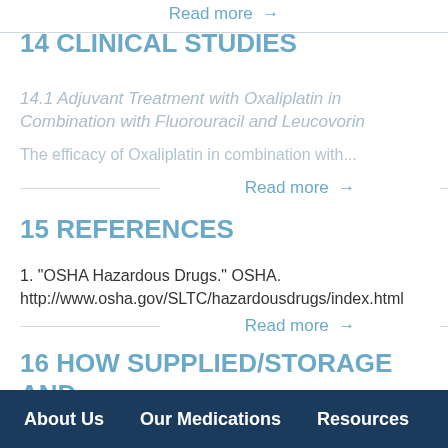Read more →
14 CLINICAL STUDIES
14.1 Adjuvant Treatment with Oxaliplatin in Combination with Fluorouracil and Leucovorin
The efficacy of Oxaliplatin in combination with...
Read more →
15 REFERENCES
1. "OSHA Hazardous Drugs." OSHA. http://www.osha.gov/SLTC/hazardousdrugs/index.html
Read more →
16 HOW SUPPLIED/STORAGE AND HANDLING
About Us   Our Medications   Resources